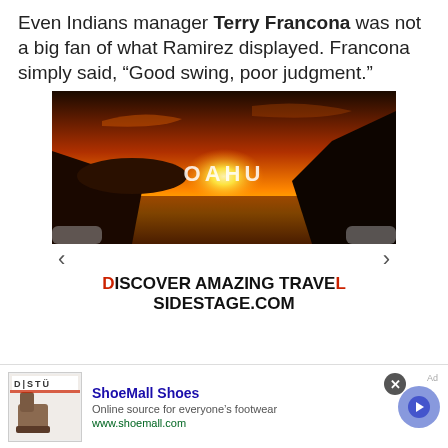Even Indians manager Terry Francona was not a big fan of what Ramirez displayed. Francona simply said, “Good swing, poor judgment.”
[Figure (photo): Sunset photo of Oahu coastline with rocky cliffs and ocean, with text 'OAHU' overlaid in center]
DISCOVER AMAZING TRAVEL SIDESTAGE.COM
[Figure (screenshot): Advertisement for ShoeMall Shoes showing boot product image with DISTU brand logo, tagline 'Online source for everyone’s footwear', url www.shoemall.com, and a blue circular arrow button]